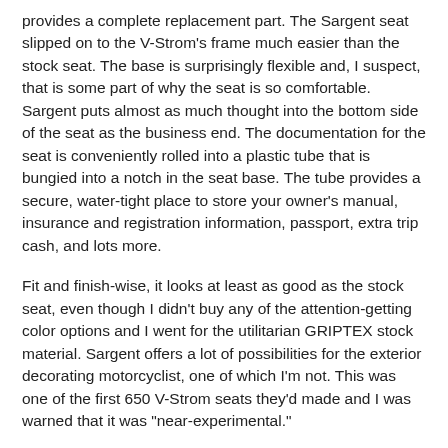provides a complete replacement part. The Sargent seat slipped on to the V-Strom's frame much easier than the stock seat. The base is surprisingly flexible and, I suspect, that is some part of why the seat is so comfortable. Sargent puts almost as much thought into the bottom side of the seat as the business end. The documentation for the seat is conveniently rolled into a plastic tube that is bungied into a notch in the seat base. The tube provides a secure, water-tight place to store your owner's manual, insurance and registration information, passport, extra trip cash, and lots more.
Fit and finish-wise, it looks at least as good as the stock seat, even though I didn't buy any of the attention-getting color options and I went for the utilitarian GRIPTEX stock material. Sargent offers a lot of possibilities for the exterior decorating motorcyclist, one of which I'm not. This was one of the first 650 V-Strom seats they'd made and I was warned that it was "near-experimental."
The only things that really matter about a motorcycle seat is how it sits and how it holds up. I found the seat to be very